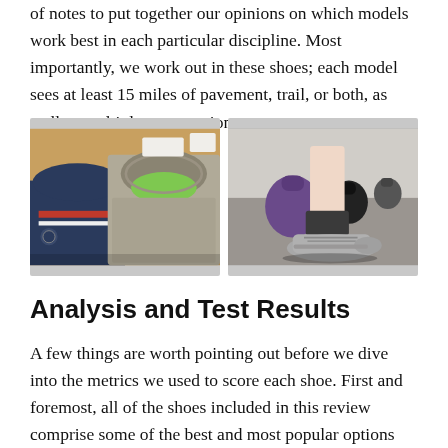of notes to put together our opinions on which models work best in each particular discipline. Most importantly, we work out in these shoes; each model sees at least 15 miles of pavement, trail, or both, as well as multiple gym sessions.
[Figure (photo): Two photos side by side: left shows a close-up of the interior heel collar of two training shoes (one dark blue/red, one beige/gray with green insole visible), right shows a person's feet wearing gray minimalist training shoes while standing near kettlebells in a gym.]
Analysis and Test Results
A few things are worth pointing out before we dive into the metrics we used to score each shoe. First and foremost, all of the shoes included in this review comprise some of the best and most popular options for barefoot and minimalist shoes